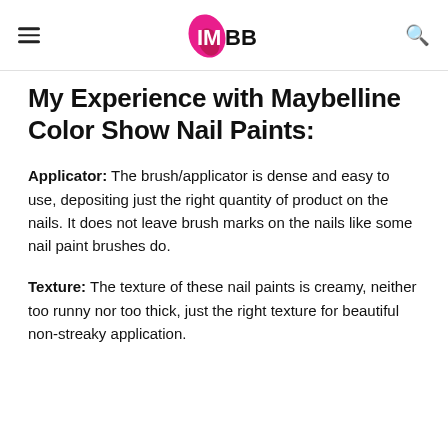IMBB
My Experience with Maybelline Color Show Nail Paints:
Applicator: The brush/applicator is dense and easy to use, depositing just the right quantity of product on the nails. It does not leave brush marks on the nails like some nail paint brushes do.
Texture: The texture of these nail paints is creamy, neither too runny nor too thick, just the right texture for beautiful non-streaky application.